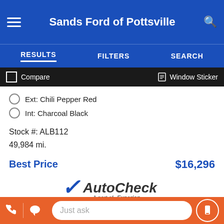Sands Ford of Pottsville
RESULTS | FILTERS | SEARCH
Compare   Window Sticker
Ext: Chili Pepper Red
Int: Charcoal Black
Stock #: ALB112
49,984 mi.
Best Price   $16,296
[Figure (logo): AutoCheck A part of Experian logo with blue checkmark]
GET MORE INFORMATION
Just ask